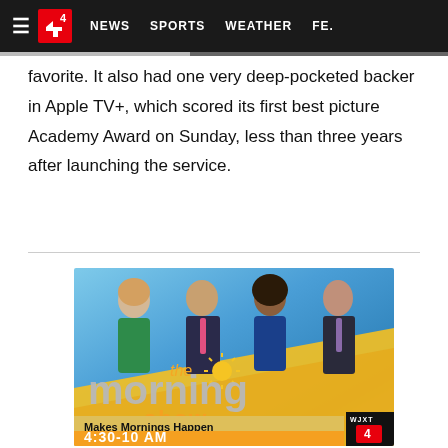NEWS  SPORTS  WEATHER  FE.
favorite. It also had one very deep-pocketed backer in Apple TV+, which scored its first best picture Academy Award on Sunday, less than three years after launching the service.
[Figure (photo): Promotional advertisement for 'The Morning Show' on WJXT4 featuring four news anchors - a woman in green dress, a man in suit with pink tie, a woman in blue dress, and a man in suit with purple tie - posed in front of a blue and yellow gradient background. Text reads 'the morning show Makes Mornings Happen 4:30-10 AM' with WJXT 4 logo.]